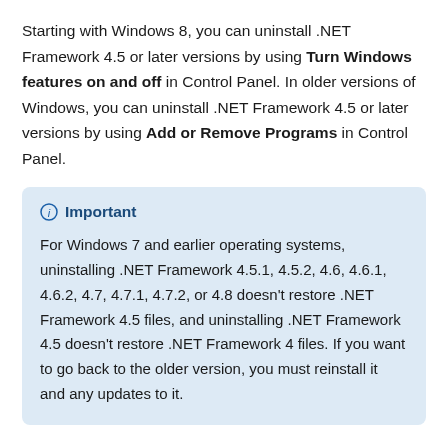Starting with Windows 8, you can uninstall .NET Framework 4.5 or later versions by using Turn Windows features on and off in Control Panel. In older versions of Windows, you can uninstall .NET Framework 4.5 or later versions by using Add or Remove Programs in Control Panel.
Important

For Windows 7 and earlier operating systems, uninstalling .NET Framework 4.5.1, 4.5.2, 4.6, 4.6.1, 4.6.2, 4.7, 4.7.1, 4.7.2, or 4.8 doesn't restore .NET Framework 4.5 files, and uninstalling .NET Framework 4.5 doesn't restore .NET Framework 4 files. If you want to go back to the older version, you must reinstall it and any updates to it.